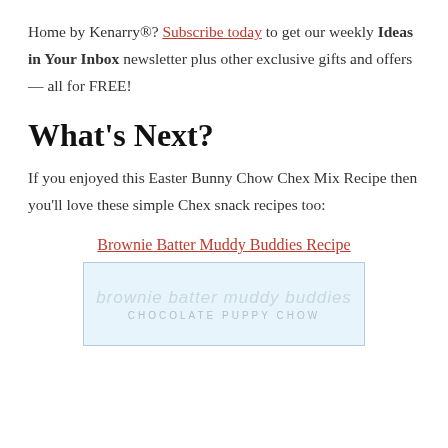Home by Kenarry®? Subscribe today to get our weekly Ideas in Your Inbox newsletter plus other exclusive gifts and offers — all for FREE!
What's Next?
If you enjoyed this Easter Bunny Chow Chex Mix Recipe then you'll love these simple Chex snack recipes too:
Brownie Batter Muddy Buddies Recipe
[Figure (photo): Image of brownie batter muddy buddies chocolate puppy chow recipe card with cursive and uppercase text on a light blue background]